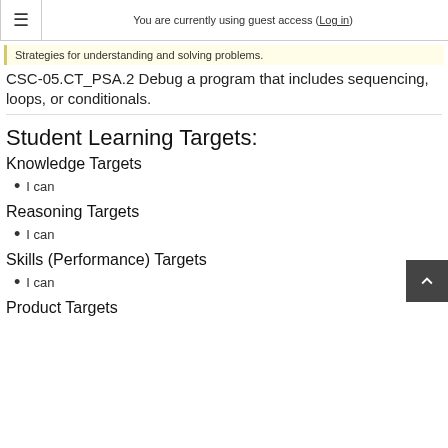You are currently using guest access (Log in)
Strategies for understanding and solving problems.
CSC-05.CT_PSA.2 Debug a program that includes sequencing, loops, or conditionals.
Student Learning Targets:
Knowledge Targets
I can
Reasoning Targets
I can
Skills (Performance) Targets
I can
Product Targets